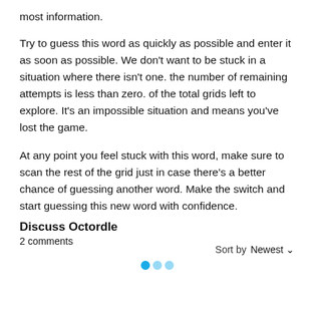most information.
Try to guess this word as quickly as possible and enter it as soon as possible. We don't want to be stuck in a situation where there isn't one. the number of remaining attempts is less than zero. of the total grids left to explore. It's an impossible situation and means you've lost the game.
At any point you feel stuck with this word, make sure to scan the rest of the grid just in case there's a better chance of guessing another word. Make the switch and start guessing this new word with confidence.
Discuss Octordle
2 comments
Sort by   Newest ∨
[Figure (other): Three teal/blue dots indicating a loading or pagination indicator]